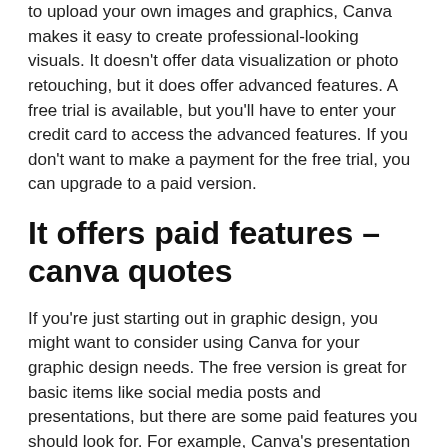to upload your own images and graphics, Canva makes it easy to create professional-looking visuals. It doesn't offer data visualization or photo retouching, but it does offer advanced features. A free trial is available, but you'll have to enter your credit card to access the advanced features. If you don't want to make a payment for the free trial, you can upgrade to a paid version.
It offers paid features – canva quotes
If you're just starting out in graphic design, you might want to consider using Canva for your graphic design needs. The free version is great for basic items like social media posts and presentations, but there are some paid features you should look for. For example, Canva's presentation feature gives it a slight edge over other tools like PowerPoint, but it doesn't make this tool superior. If you know what you're doing, you can create professional-looking presentations without spending a dime.
If you're one of those who want the paid version...